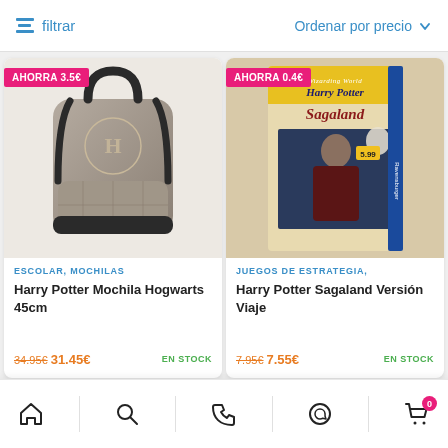filtrar   Ordenar por precio
[Figure (photo): Harry Potter Hogwarts backpack, grey/brown with Hogwarts crest and diamond pattern, with savings badge AHORRA 3.5€]
ESCOLAR, MOCHILAS
Harry Potter Mochila Hogwarts 45cm
34.95€ 31.45€ EN STOCK
[Figure (photo): Harry Potter Sagaland Versión Viaje board game box showing Harry Potter character and Hedwig owl, Ravensburger brand, with savings badge AHORRA 0.4€]
JUEGOS DE ESTRATEGIA,
Harry Potter Sagaland Versión Viaje
7.95€ 7.55€ EN STOCK
Home  Search  Phone  WhatsApp  Cart (0)